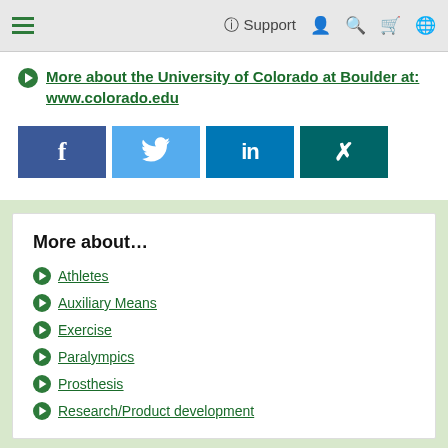Navigation bar with hamburger menu, Support, user, search, cart, globe icons
More about the University of Colorado at Boulder at: www.colorado.edu
[Figure (other): Social media sharing buttons: Facebook, Twitter, LinkedIn, XING]
More about…
Athletes
Auxiliary Means
Exercise
Paralympics
Prosthesis
Research/Product development